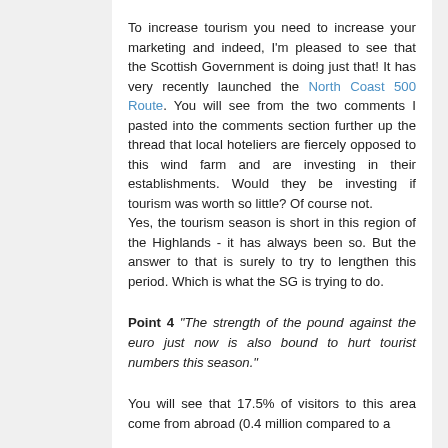To increase tourism you need to increase your marketing and indeed, I'm pleased to see that the Scottish Government is doing just that! It has very recently launched the North Coast 500 Route. You will see from the two comments I pasted into the comments section further up the thread that local hoteliers are fiercely opposed to this wind farm and are investing in their establishments. Would they be investing if tourism was worth so little? Of course not.
Yes, the tourism season is short in this region of the Highlands - it has always been so. But the answer to that is surely to try to lengthen this period. Which is what the SG is trying to do.
Point 4 "The strength of the pound against the euro just now is also bound to hurt tourist numbers this season."
You will see that 17.5% of visitors to this area come from abroad (0.4 million compared to a